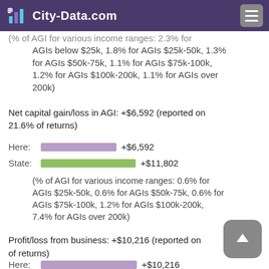State: [bar] $4,542
City-Data.com
(% of AGI for various income ranges: 2.3% for AGIs below $25k, 1.8% for AGIs $25k-50k, 1.3% for AGIs $50k-75k, 1.1% for AGIs $75k-100k, 1.2% for AGIs $100k-200k, 1.1% for AGIs over 200k)
Net capital gain/loss in AGI: +$6,592 (reported on 21.6% of returns)
Here: [bar] +$6,592
State: [bar] +$11,802
(% of AGI for various income ranges: 0.6% for AGIs $25k-50k, 0.6% for AGIs $50k-75k, 0.6% for AGIs $75k-100k, 1.2% for AGIs $100k-200k, 7.4% for AGIs over 200k)
Profit/loss from business: +$10,216 (reported on ... of returns)
Here: [bar] +$10,216